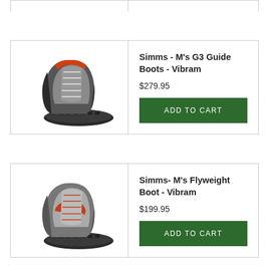[Figure (photo): Simms M's G3 Guide Boots - Vibram wading boots shown from the side and sole]
Simms - M's G3 Guide Boots - Vibram
$279.95
ADD TO CART
[Figure (photo): Simms M's Flyweight Boot - Vibram wading boots shown from the side and sole]
Simms- M's Flyweight Boot - Vibram
$199.95
ADD TO CART